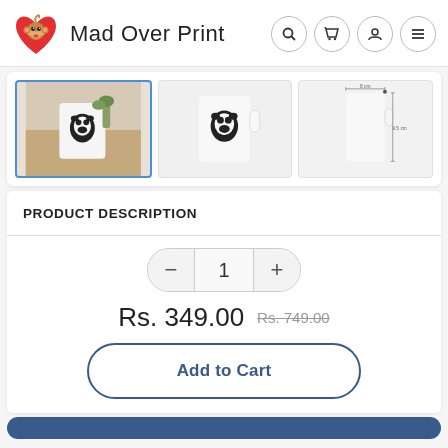Mad Over Print
[Figure (screenshot): Three product images of a white mug with a panda design. The leftmost image is selected (blue border), showing the mug in a lifestyle setting. The middle shows a front view of the mug. The right shows a side/size reference view.]
PRODUCT DESCRIPTION
1
Rs. 349.00  Rs. 749.00
Add to Cart